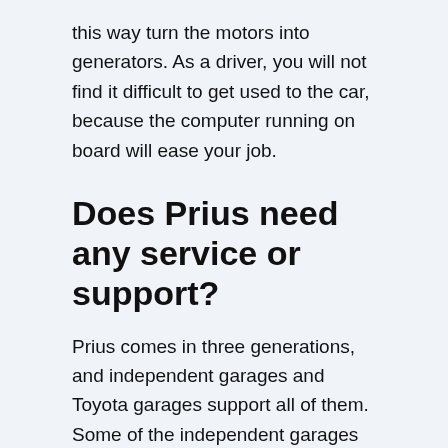this way turn the motors into generators. As a driver, you will not find it difficult to get used to the car, because the computer running on board will ease your job.
Does Prius need any service or support?
Prius comes in three generations, and independent garages and Toyota garages support all of them. Some of the independent garages from your town offer services suitable to maintain and repair your Prius. However, you should know that if you do not get the upgrades of the car at a Toyota service, the manufacturer would not support them. If you want to find more details about this...